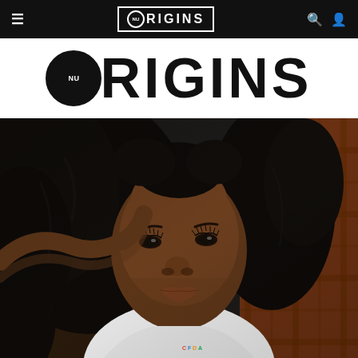NU ORIGINS — navigation bar with hamburger menu, logo, search and user icons
NU ORIGINS
[Figure (photo): Portrait photograph of a young Black woman with voluminous dark curly hair, wearing a white t-shirt with colorful text, reclining against a plaid background. She has long lashes and a subtle expression.]